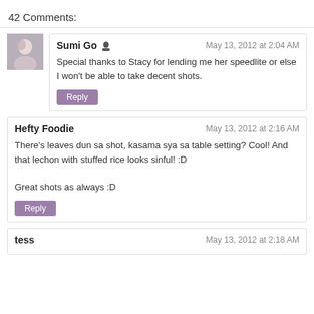42 Comments:
Sumi Go  [icon] — May 13, 2012 at 2:04 AM
Special thanks to Stacy for lending me her speedlite or else I won't be able to take decent shots.
[Reply]
Hefty Foodie — May 13, 2012 at 2:16 AM
There's leaves dun sa shot, kasama sya sa table setting? Cool! And that lechon with stuffed rice looks sinful! :D

Great shots as always :D
[Reply]
tess — May 13, 2012 at 2:18 AM